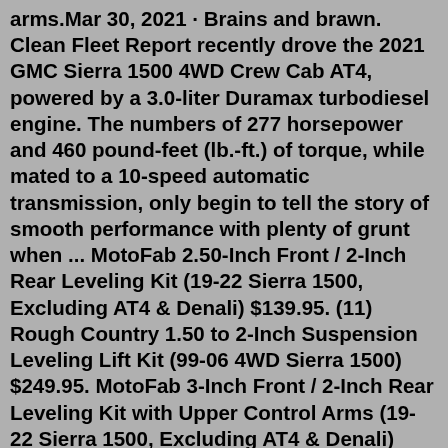arms.Mar 30, 2021 · Brains and brawn. Clean Fleet Report recently drove the 2021 GMC Sierra 1500 4WD Crew Cab AT4, powered by a 3.0-liter Duramax turbodiesel engine. The numbers of 277 horsepower and 460 pound-feet (lb.-ft.) of torque, while mated to a 10-speed automatic transmission, only begin to tell the story of smooth performance with plenty of grunt when ... MotoFab 2.50-Inch Front / 2-Inch Rear Leveling Kit (19-22 Sierra 1500, Excluding AT4 & Denali) $139.95. (11) Rough Country 1.50 to 2-Inch Suspension Leveling Lift Kit (99-06 4WD Sierra 1500) $249.95. MotoFab 3-Inch Front / 2-Inch Rear Leveling Kit with Upper Control Arms (19-22 Sierra 1500, Excluding AT4 & Denali) $494.99. MotoFab 3-Inch Front ...Top 10 Best GMC Sierra Accessories, Mods & Upgrades for 2022. #1. WeatherTech DigitalFit Floor Liners. (9555 Reviews) From $64.95. Free Shipping. #2. Husky Liners WeatherBeater Floor Liners. (3617 Reviews)The least-expensive 2021 GMC Sierra 3500HD is the 2021 GMC Sierra 3500HD 4dr Crew Cab SB (6.6L 8-cyl 6A). Including destination charge...